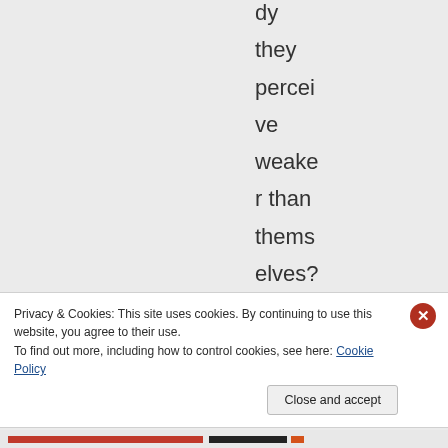dy they perceive weaker than themselves? Belcher was a
Privacy & Cookies: This site uses cookies. By continuing to use this website, you agree to their use.
To find out more, including how to control cookies, see here: Cookie Policy
Close and accept